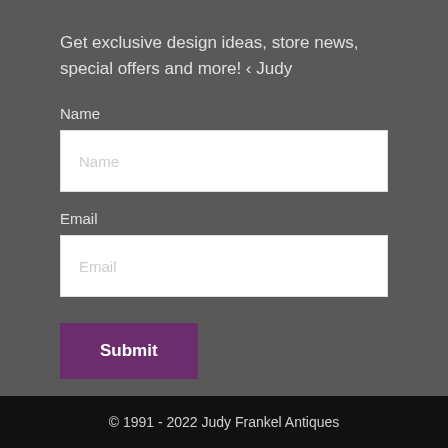Get exclusive design ideas, store news, special offers and more! ‹ Judy
Name
Email
Submit
© 1991 - 2022 Judy Frankel Antiques